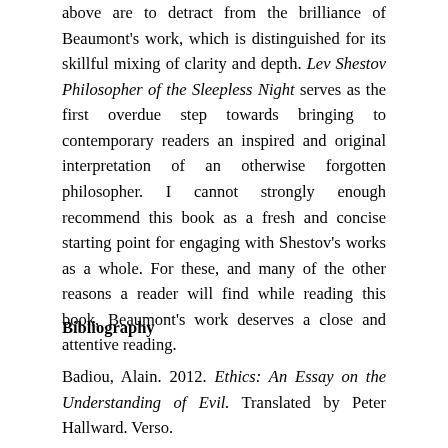above are to detract from the brilliance of Beaumont's work, which is distinguished for its skillful mixing of clarity and depth. Lev Shestov Philosopher of the Sleepless Night serves as the first overdue step towards bringing to contemporary readers an inspired and original interpretation of an otherwise forgotten philosopher. I cannot strongly enough recommend this book as a fresh and concise starting point for engaging with Shestov's works as a whole. For these, and many of the other reasons a reader will find while reading this book, Beaumont's work deserves a close and attentive reading.
Bibliography
Badiou, Alain. 2012. Ethics: An Essay on the Understanding of Evil. Translated by Peter Hallward. Verso.